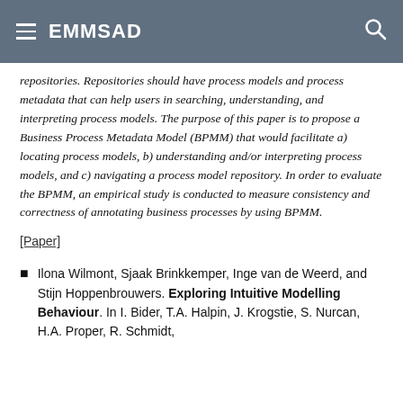EMMSAD
repositories. Repositories should have process models and process metadata that can help users in searching, understanding, and interpreting process models. The purpose of this paper is to propose a Business Process Metadata Model (BPMM) that would facilitate a) locating process models, b) understanding and/or interpreting process models, and c) navigating a process model repository. In order to evaluate the BPMM, an empirical study is conducted to measure consistency and correctness of annotating business processes by using BPMM.
[Paper]
Ilona Wilmont, Sjaak Brinkkemper, Inge van de Weerd, and Stijn Hoppenbrouwers. Exploring Intuitive Modelling Behaviour. In I. Bider, T.A. Halpin, J. Krogstie, S. Nurcan, H.A. Proper, R. Schmidt,